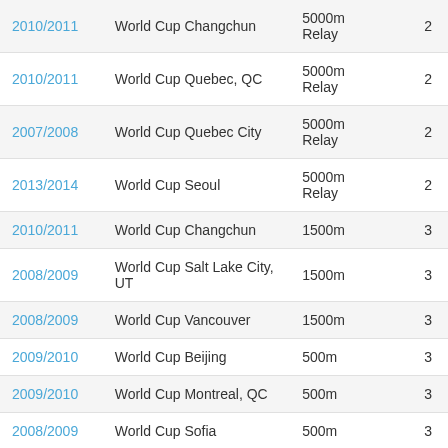| Season | Competition | Event | Pos |
| --- | --- | --- | --- |
| 2010/2011 | World Cup Changchun | 5000m Relay | 2 |
| 2010/2011 | World Cup Quebec, QC | 5000m Relay | 2 |
| 2007/2008 | World Cup Quebec City | 5000m Relay | 2 |
| 2013/2014 | World Cup Seoul | 5000m Relay | 2 |
| 2010/2011 | World Cup Changchun | 1500m | 3 |
| 2008/2009 | World Cup Salt Lake City, UT | 1500m | 3 |
| 2008/2009 | World Cup Vancouver | 1500m | 3 |
| 2009/2010 | World Cup Beijing | 500m | 3 |
| 2009/2010 | World Cup Montreal, QC | 500m | 3 |
| 2008/2009 | World Cup Sofia | 500m | 3 |
| 2010/2011 | World Cup Montreal, QC | 5000m Relay | 3 |
| 2012/2013 | World Cup Montreal, QC | 5000m Relay | 3 |